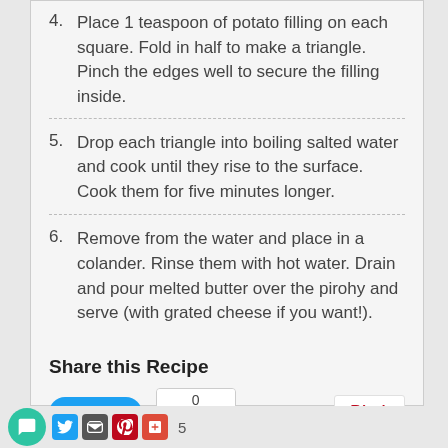4. Place 1 teaspoon of potato filling on each square. Fold in half to make a triangle. Pinch the edges well to secure the filling inside.
5. Drop each triangle into boiling salted water and cook until they rise to the surface. Cook them for five minutes longer.
6. Remove from the water and place in a colander. Rinse them with hot water. Drain and pour melted butter over the pirohy and serve (with grated cheese if you want!).
Share this Recipe
Tweet | 0 Like | Pin it | Powered by WP Ultimate Recipe
5